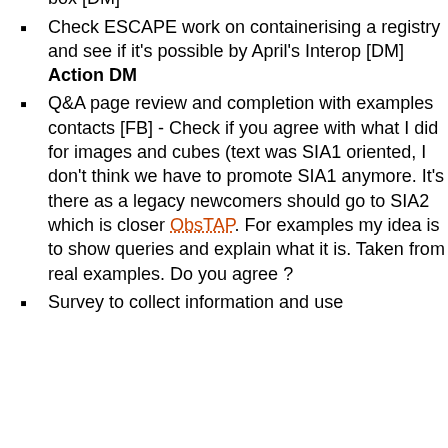(Theresa or Markus) [JE] or use a registry in a box [DM]
Check ESCAPE work on containerising a registry and see if it's possible by April's Interop [DM] Action DM
Q&A page review and completion with examples contacts [FB] - Check if you agree with what I did for images and cubes (text was SIA1 oriented, I don't think we have to promote SIA1 anymore. It's there as a legacy newcomers should go to SIA2 which is closer ObsTAP. For examples my idea is to show queries and explain what it is. Taken from real examples. Do you agree ?
Survey to collect information and use